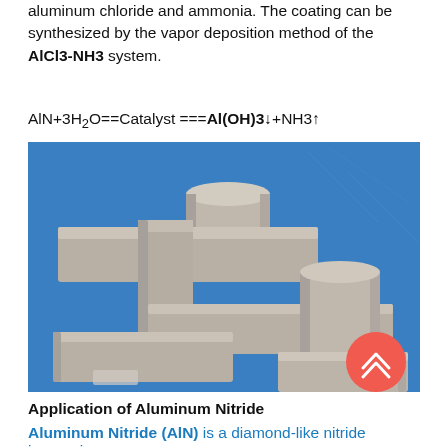aluminum chloride and ammonia. The coating can be synthesized by the vapor deposition method of the AlCl3-NH3 system.
[Figure (photo): Photograph of aluminum nitride ceramic components — rectangular blocks and cylindrical rods in gray/beige color arranged on a blue surface, showing the physical form of AlN ceramic material.]
Application of Aluminum Nitride
Aluminum Nitride (AlN) is a diamond-like nitride inorganic